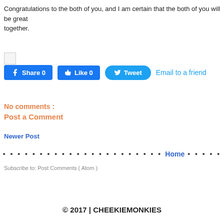Congratulations to the both of you, and I am certain that the both of you will be great together.
[Figure (other): Small image placeholder icon]
[Figure (other): Social share buttons: Facebook Share 0, Like 0, Tweet, Email to a friend]
No comments :
Post a Comment
Newer Post
• • • • • • • • • • • • • • • • • • • • • • Home • • • • •
Subscribe to: Post Comments ( Atom )
© 2017 | CHEEKIEMONKIES